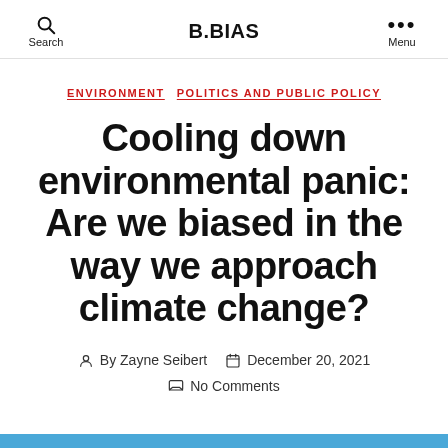B.BIAS
ENVIRONMENT  POLITICS AND PUBLIC POLICY
Cooling down environmental panic: Are we biased in the way we approach climate change?
By Zayne Seibert  December 20, 2021  No Comments